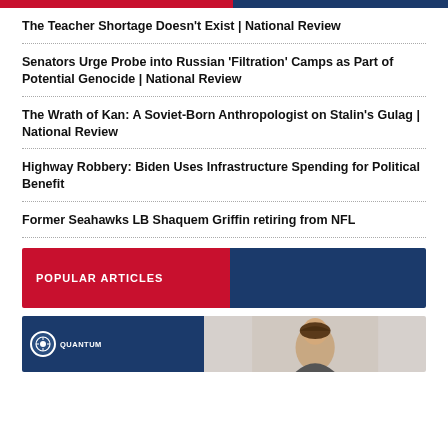The Teacher Shortage Doesn’t Exist | National Review
Senators Urge Probe into Russian ‘Filtration’ Camps as Part of Potential Genocide | National Review
The Wrath of Kan: A Soviet-Born Anthropologist on Stalin’s Gulag | National Review
Highway Robbery: Biden Uses Infrastructure Spending for Political Benefit
Former Seahawks LB Shaquem Griffin retiring from NFL
POPULAR ARTICLES
[Figure (photo): Thumbnail image with Quantum logo on blue background and a person photo]